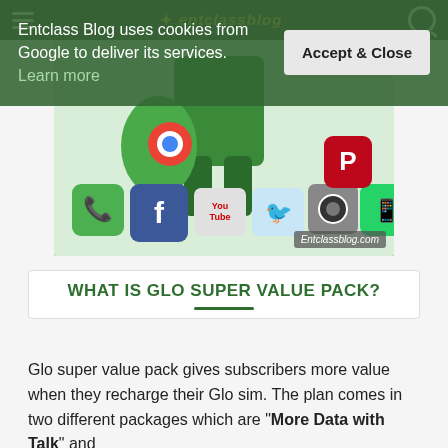entclassblog
[Figure (photo): Blog image showing a person in green outfit surrounded by social media app icons including Facebook, YouTube, Twitter, Instagram, WhatsApp, Chrome, and others. Watermark reads Entclassblog.com.]
Entclass Blog uses cookies from Google to deliver its services. Learn more
WHAT IS GLO SUPER VALUE PACK?
Glo super value pack gives subscribers more value when they recharge their Glo sim. The plan comes in two different packages which are "More Data with Talk" and "More Talk with Data".